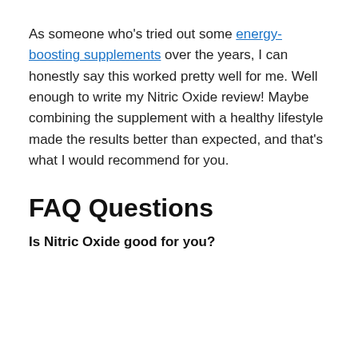As someone who's tried out some energy-boosting supplements over the years, I can honestly say this worked pretty well for me. Well enough to write my Nitric Oxide review! Maybe combining the supplement with a healthy lifestyle made the results better than expected, and that's what I would recommend for you.
FAQ Questions
Is Nitric Oxide good for you?